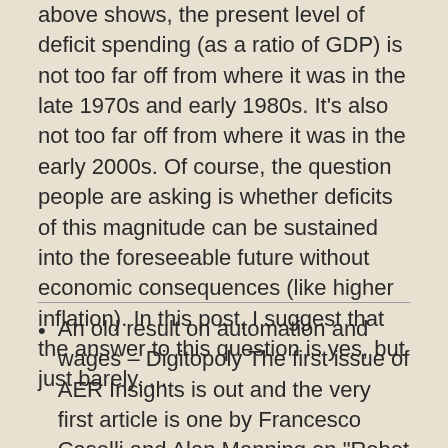above shows, the present level of deficit spending (as a ratio of GDP) is not too far off from where it was in the late 1970s and early 1980s. It's also not too far off from where it was in the early 2000s. Of course, the question people are asking is whether deficits of this magnitude can be sustained into the foreseeable future without economic consequences (like higher inflation). In this post, I suggest that the answer to this question is yes, but just barely. ...
An old result on automation and wages – Digitopoly The first issue of AER Insights is out and the very first article is one by Francesco Caselli and Alan Manning on "Robot Arithmetic: New Technologies and Wages." Here is the abstract: Existing